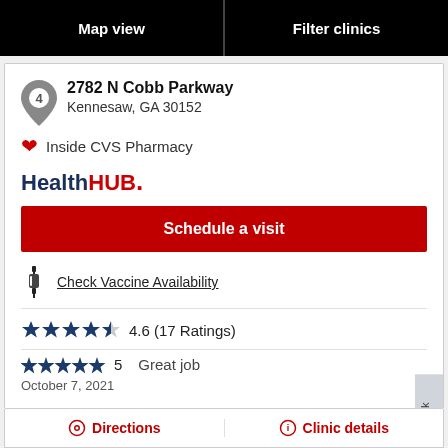Map view | Filter clinics
2782 N Cobb Parkway
Kennesaw, GA 30152
Inside CVS Pharmacy
[Figure (logo): HealthHUB. logo in dark blue and red]
Schedule a visit
Check Vaccine Availability
4.6 (17 Ratings)
5   Great job
October 7, 2021
Directions   Clinic details